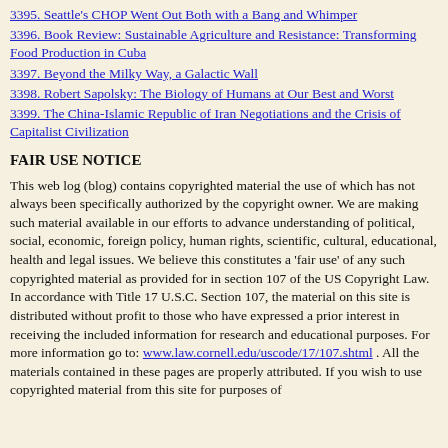3395. Seattle's CHOP Went Out Both with a Bang and Whimper
3396. Book Review: Sustainable Agriculture and Resistance: Transforming Food Production in Cuba
3397. Beyond the Milky Way, a Galactic Wall
3398. Robert Sapolsky: The Biology of Humans at Our Best and Worst
3399. The China-Islamic Republic of Iran Negotiations and the Crisis of Capitalist Civilization
FAIR USE NOTICE
This web log (blog) contains copyrighted material the use of which has not always been specifically authorized by the copyright owner. We are making such material available in our efforts to advance understanding of political, social, economic, foreign policy, human rights, scientific, cultural, educational, health and legal issues. We believe this constitutes a 'fair use' of any such copyrighted material as provided for in section 107 of the US Copyright Law. In accordance with Title 17 U.S.C. Section 107, the material on this site is distributed without profit to those who have expressed a prior interest in receiving the included information for research and educational purposes. For more information go to: www.law.cornell.edu/uscode/17/107.shtml . All the materials contained in these pages are properly attributed. If you wish to use copyrighted material from this site for purposes of